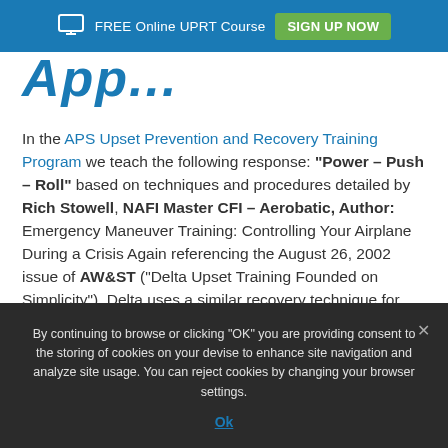FREE Online UPRT Course  SIGN UP NOW
App...
In the APS Upset Prevention and Recovery Training Program we teach the following response: "Power – Push – Roll" based on techniques and procedures detailed by Rich Stowell, NAFI Master CFI – Aerobatic, Author: Emergency Maneuver Training: Controlling Your Airplane During a Crisis Again referencing the August 26, 2002 issue of AW&ST ("Delta Upset Training Founded on Simplicity"), Delta uses a similar recovery technique for upset recoveries, which is: "pitch/roll/thrust check, level"
By continuing to browse or clicking "OK" you are providing consent to the storing of cookies on your devise to enhance site navigation and analyze site usage. You can reject cookies by changing your browser settings.
Ok